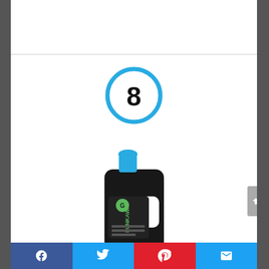[Figure (other): Number 8 inside a blue circle, used as a list/ranking indicator]
[Figure (photo): FunkAway laundry detergent booster bottle, black with blue cap, 32 oz]
FunkAway Laundry Detergent Booster (32